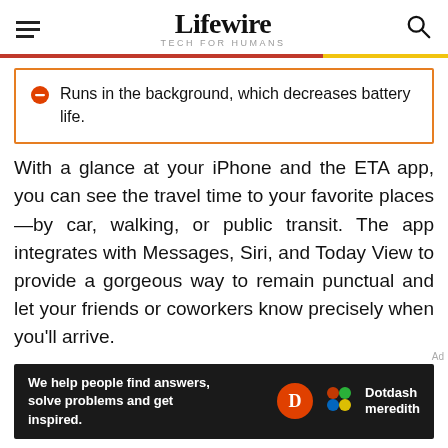Lifewire TECH FOR HUMANS
Runs in the background, which decreases battery life.
With a glance at your iPhone and the ETA app, you can see the travel time to your favorite places—by car, walking, or public transit. The app integrates with Messages, Siri, and Today View to provide a gorgeous way to remain punctual and let your friends or coworkers know precisely when you'll arrive.
[Figure (other): Dotdash Meredith advertisement banner: 'We help people find answers, solve problems and get inspired.']